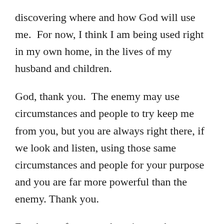discovering where and how God will use me.  For now, I think I am being used right in my own home, in the lives of my husband and children.
God, thank you.  The enemy may use circumstances and people to try keep me from you, but you are always right there, if we look and listen, using those same circumstances and people for your purpose and you are far more powerful than the enemy. Thank you.
For those of you out there in my shoes, my heart goes out to you.  Please, be encouraged and lean